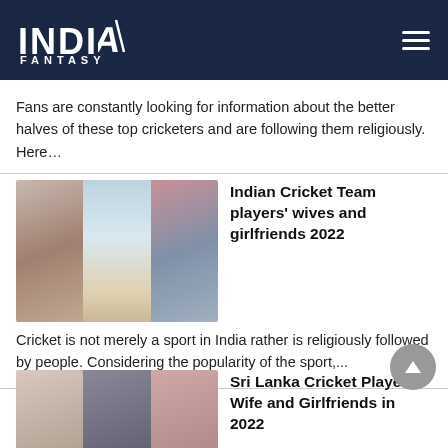INDIA FANTASY
Fans are constantly looking for information about the better halves of these top cricketers and are following them religiously. Here…
[Figure (photo): Collage of Indian cricket players' wives and girlfriends]
Indian Cricket Team players' wives and girlfriends 2022
Cricket is not merely a sport in India rather is religiously followed by people. Considering the popularity of the sport,...
[Figure (photo): Collage of Sri Lanka cricket players' wives and girlfriends]
Sri Lanka Cricket Players Wife and Girlfriends in 2022